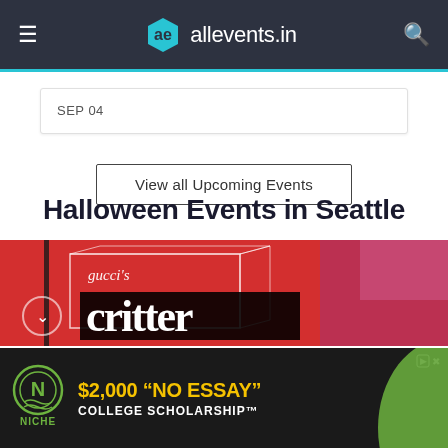allevents.in
SEP 04
View all Upcoming Events
Halloween Events in Seattle
[Figure (photo): Event promotional image with red background, white wireframe box graphic, and text reading 'gucci's critter' in bold overlaid on dark background]
[Figure (infographic): Niche advertisement banner: $2,000 'No Essay' College Scholarship with Niche logo and green swoosh element]